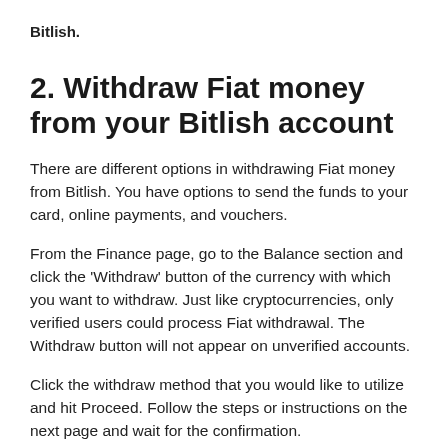Bitlish.
2. Withdraw Fiat money from your Bitlish account
There are different options in withdrawing Fiat money from Bitlish. You have options to send the funds to your card, online payments, and vouchers.
From the Finance page, go to the Balance section and click the 'Withdraw' button of the currency with which you want to withdraw. Just like cryptocurrencies, only verified users could process Fiat withdrawal. The Withdraw button will not appear on unverified accounts.
Click the withdraw method that you would like to utilize and hit Proceed. Follow the steps or instructions on the next page and wait for the confirmation.